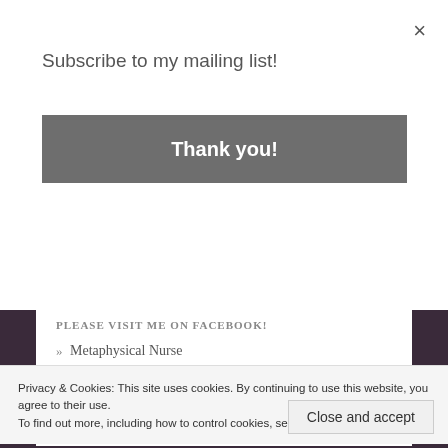Subscribe to my mailing list!
Thank you!
PLEASE VISIT ME ON FACEBOOK!
» Metaphysical Nurse
RECOMMENDED HOLISTIC HEALTH RESOURCES
Privacy & Cookies: This site uses cookies. By continuing to use this website, you agree to their use. To find out more, including how to control cookies, see here: Cookie Policy
Close and accept
» Darlene Chaubourne